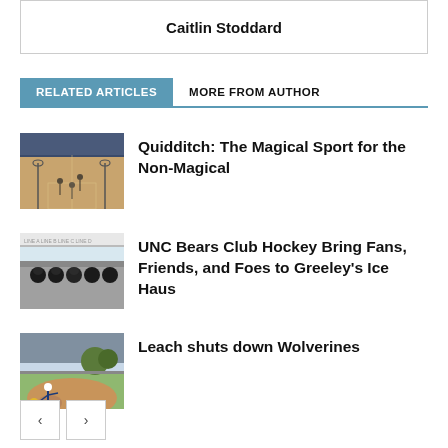Caitlin Stoddard
RELATED ARTICLES
MORE FROM AUTHOR
[Figure (photo): Indoor gym with players on court, quidditch game in progress]
Quidditch: The Magical Sport for the Non-Magical
[Figure (photo): Hockey players on bench at ice rink]
UNC Bears Club Hockey Bring Fans, Friends, and Foes to Greeley's Ice Haus
[Figure (photo): Baseball player pitching on outdoor field]
Leach shuts down Wolverines